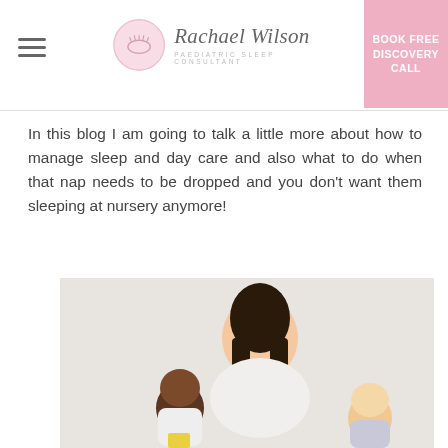Rachael Wilson Paediatric Sleep Consultant | BOOK FREE DISCOVERY CALL
In this blog I am going to talk a little more about how to manage sleep and day care and also what to do when that nap needs to be dropped and you don't want them sleeping at nursery anymore!
[Figure (photo): A smiling woman with long dark hair wearing a white dress, holding two babies — one with dark hair in a white onesie and one with light hair — against a white background.]